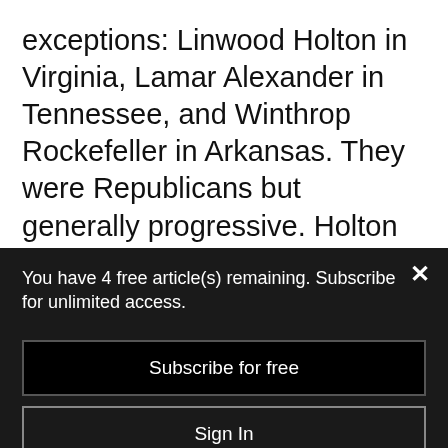exceptions: Linwood Holton in Virginia, Lamar Alexander in Tennessee, and Winthrop Rockefeller in Arkansas. They were Republicans but generally progressive. Holton was a hero to the civil rights community. He personally walked his children to the newly integrated schools in Richmond during a time of racial animus and threats of violence.
You have 4 free article(s) remaining. Subscribe for unlimited access.
Subscribe for free
Sign In